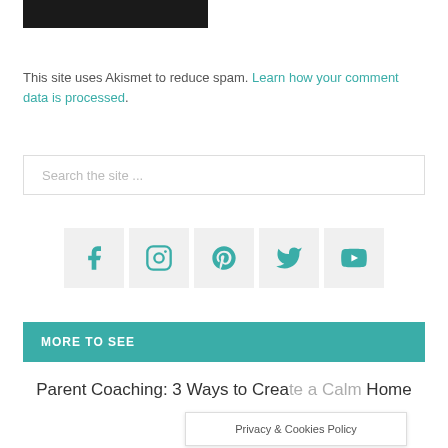[Figure (other): Black rectangular image/logo bar at the top]
This site uses Akismet to reduce spam. Learn how your comment data is processed.
[Figure (other): Search the site ... input box]
[Figure (other): Social media icons: Facebook, Instagram, Pinterest, Twitter, YouTube]
MORE TO SEE
Parent Coaching: 3 Ways to Crea... Home
Privacy & Cookies Policy